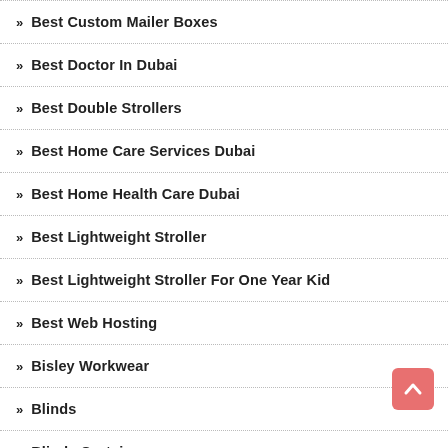Best Custom Mailer Boxes
Best Doctor In Dubai
Best Double Strollers
Best Home Care Services Dubai
Best Home Health Care Dubai
Best Lightweight Stroller
Best Lightweight Stroller For One Year Kid
Best Web Hosting
Bisley Workwear
Blinds
Blinds Curtains
Bookkeeping Services
Bosch Fridge Repair Dubai